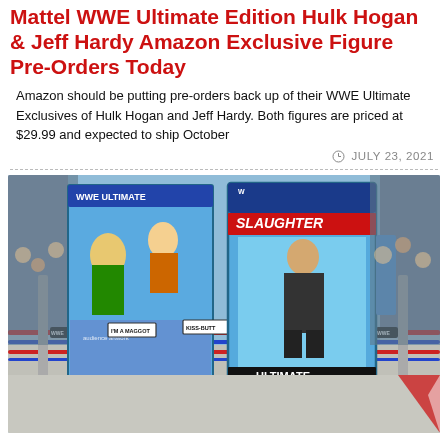Mattel WWE Ultimate Edition Hulk Hogan & Jeff Hardy Amazon Exclusive Figure Pre-Orders Today
Amazon should be putting pre-orders back up of their WWE Ultimate Exclusives of Hulk Hogan and Jeff Hardy. Both figures are priced at $29.99 and expected to ship October
JULY 23, 2021
[Figure (photo): WWE Ultimate Edition figure in packaging displayed in a WWE toy wrestling ring. The package shows a Sgt. Slaughter figure with artwork. Signs in the ring read 'I'M A MAGGOT' and 'KISS-BUTT'. The ring has red ropes and blue accents.]